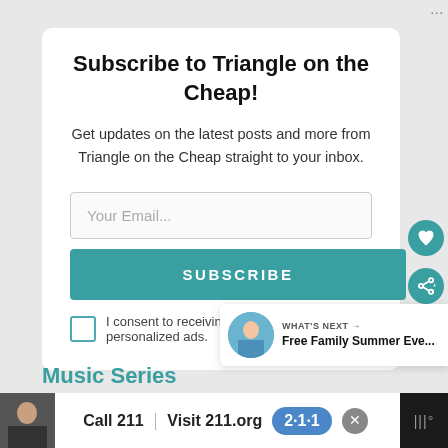Subscribe to Triangle on the Cheap!
Get updates on the latest posts and more from Triangle on the Cheap straight to your inbox.
Your Email...
SUBSCRIBE
I consent to receiving emails and personalized ads.
WHAT'S NEXT → Free Family Summer Eve...
Music Series
Call 211 | Visit 211.org 2·1·1